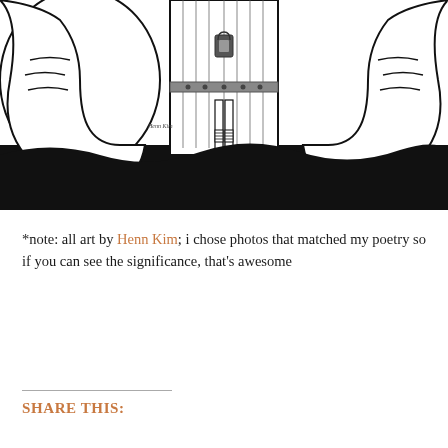[Figure (illustration): Black and white illustration by Henn Kim. Two large hands grip an ornate box or cage-like container. A small child figure stands inside the box, visible from the knees down, wearing socks and shoes. The bottom half of the illustration has a large black area. Artist signature 'Henn Kim' is visible in small text on the left side of the image.]
*note: all art by Henn Kim; i chose photos that matched my poetry so if you can see the significance, that's awesome
SHARE THIS: